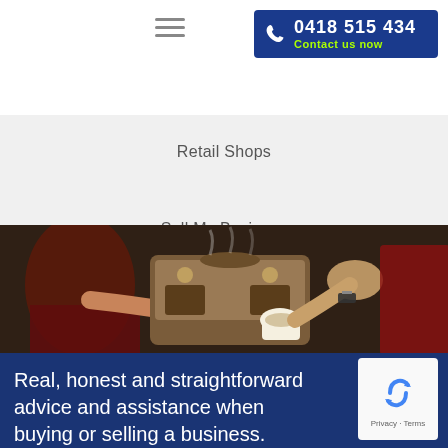[Figure (logo): Hamburger menu icon (three horizontal lines)]
[Figure (other): Phone contact button with number 0418 515 434 and text 'Contact us now' on dark blue background]
Retail Shops
Sell My Business
Take Away Shops
[Figure (photo): Photo of cafe/coffee shop scene with barista handing a coffee cup over an espresso machine. Warm tones, slightly dark overlay.]
Real, honest and straightforward advice and assistance when buying or selling a business.  Call
[Figure (other): Google reCAPTCHA widget with blue recycling arrows logo and 'Privacy - Terms' text]